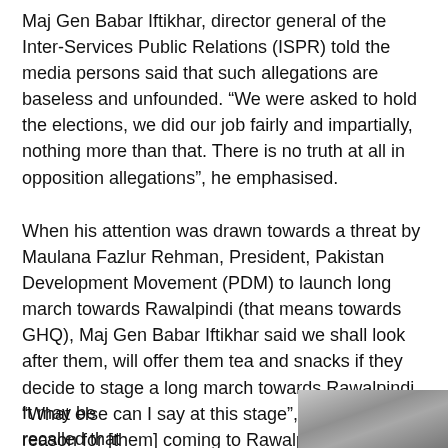Maj Gen Babar Iftikhar, director general of the Inter-Services Public Relations (ISPR) told the media persons said that such allegations are baseless and unfounded. “We were asked to hold the elections, we did our job fairly and impartially, nothing more than that. There is no truth at all in opposition allegations”, he emphasised.
When his attention was drawn towards a threat by Maulana Fazlur Rehman, President, Pakistan Development Movement (PDM) to launch long march towards Rawalpindi (that means towards GHQ), Maj Gen Babar Iftikhar said we shall look after them, will offer them tea and snacks if they decide to stage a long march towards Rawalpindi. “What else can I say at this stage”, I don’t see a reason for [them] coming to Rawalpindi”, the chief of the military’s media wing said.
It may be recalled that
[Figure (photo): Photo of a person, partially visible at the bottom right of the page]